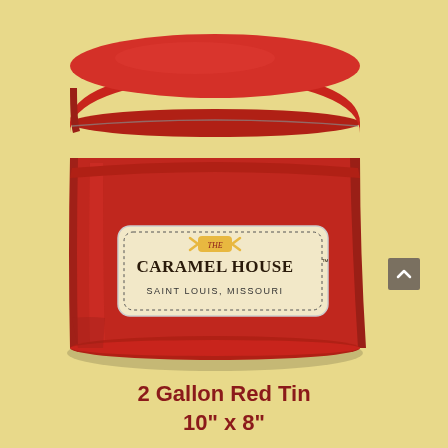[Figure (photo): A red metal 2-gallon popcorn tin with an oval lid, featuring a label on the front that reads 'The Caramel House, Saint Louis, Missouri'. The tin is photographed against a warm yellow/beige background.]
2 Gallon Red Tin
10" x 8"